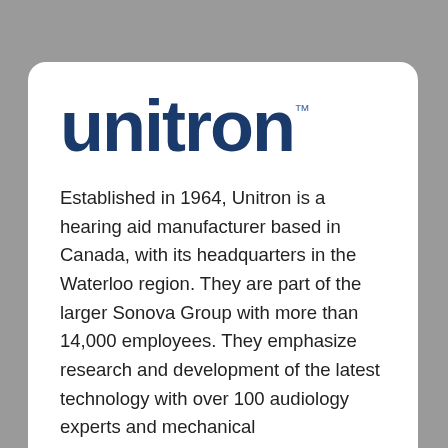[Figure (logo): Unitron logo in dark navy blue with trademark symbol]
Established in 1964, Unitron is a hearing aid manufacturer based in Canada, with its headquarters in the Waterloo region. They are part of the larger Sonova Group with more than 14,000 employees. They emphasize research and development of the latest technology with over 100 audiology experts and mechanical electroacoustic, algorithmic and software engineers in their Kitchener development center. Unitron locations extend to more than 70 countries with manufacturing taking place in